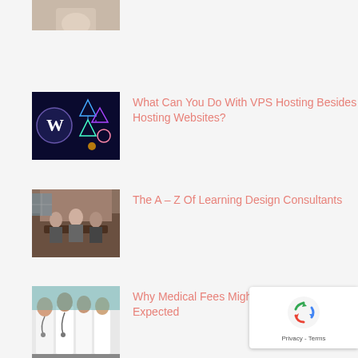[Figure (photo): Partial thumbnail image at top of page (cropped), hands visible]
[Figure (photo): WordPress and VPS hosting themed graphic with glowing holographic icons on dark blue background]
What Can You Do With VPS Hosting Besides Hosting Websites?
[Figure (photo): People sitting around a table in a meeting or consultation room]
The A – Z Of Learning Design Consultants
[Figure (photo): Medical professionals in white coats with stethoscopes]
Why Medical Fees Might Be Higher Than Expected
[Figure (photo): Multiple choice exam answer sheet with pencil]
Few Tricks To Prepare For English Language Test Preparation!
[Figure (other): reCAPTCHA verification badge with spinning arrows icon, Privacy and Terms links]